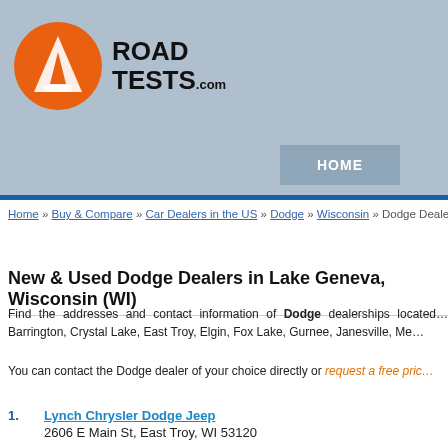ROAD TESTS.com — website header with logo and HOME navigation
Home » Buy & Compare » Car Dealers in the US » Dodge » Wisconsin » Dodge Dealers in Lake Ge...
New & Used Dodge Dealers in Lake Geneva, Wisconsin (WI)
Find the addresses and contact information of Dodge dealerships located... Barrington, Crystal Lake, East Troy, Elgin, Fox Lake, Gurnee, Janesville, Me...
You can contact the Dodge dealer of your choice directly or request a free pric...
1. Lynch Chrysler Dodge Jeep — 2606 E Main St, East Troy, WI 53120